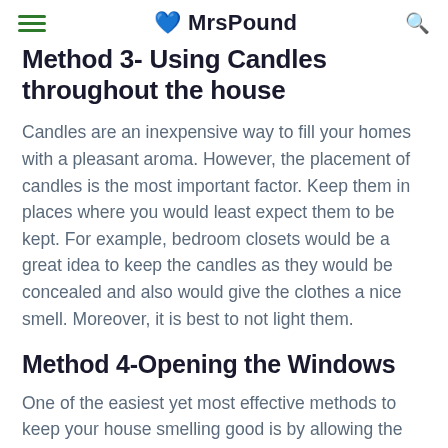≡ 💙 MrsPound 🔍
Method 3- Using Candles throughout the house
Candles are an inexpensive way to fill your homes with a pleasant aroma. However, the placement of candles is the most important factor. Keep them in places where you would least expect them to be kept. For example, bedroom closets would be a great idea to keep the candles as they would be concealed and also would give the clothes a nice smell. Moreover, it is best to not light them.
Method 4-Opening the Windows
One of the easiest yet most effective methods to keep your house smelling good is by allowing the house to breathe. Processes like cooking, burning,